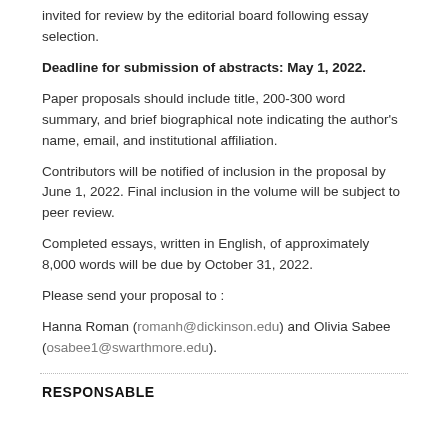invited for review by the editorial board following essay selection.
Deadline for submission of abstracts: May 1, 2022.
Paper proposals should include title, 200-300 word summary, and brief biographical note indicating the author's name, email, and institutional affiliation.
Contributors will be notified of inclusion in the proposal by June 1, 2022. Final inclusion in the volume will be subject to peer review.
Completed essays, written in English, of approximately 8,000 words will be due by October 31, 2022.
Please send your proposal to :
Hanna Roman (romanh@dickinson.edu) and Olivia Sabee (osabee1@swarthmore.edu).
RESPONSABLE